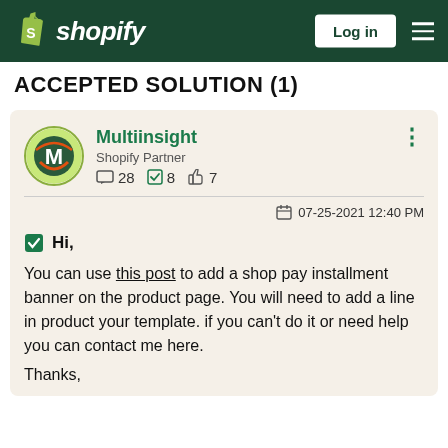Shopify — Log in
ACCEPTED SOLUTION (1)
Multiinsight
Shopify Partner
28  8  7
07-25-2021 12:40 PM
Hi,
You can use this post to add a shop pay installment banner on the product page. You will need to add a line in product your template. if you can't do it or need help you can contact me here.

Thanks,